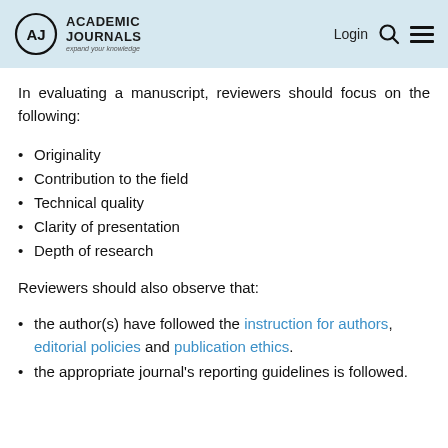Academic Journals — expand your knowledge | Login
In evaluating a manuscript, reviewers should focus on the following:
Originality
Contribution to the field
Technical quality
Clarity of presentation
Depth of research
Reviewers should also observe that:
the author(s) have followed the instruction for authors, editorial policies and publication ethics.
the appropriate journal's reporting guidelines is followed.